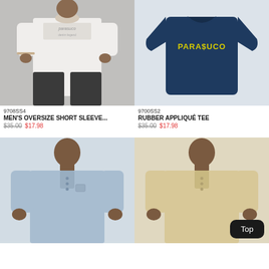[Figure (photo): Man wearing white oversized short sleeve t-shirt with Parasuco Denim Legend graphic print, dark jeans]
9708SS4
MEN'S OVERSIZE SHORT SLEEVE...
$35.00 $17.98
[Figure (photo): Navy blue Parasuco t-shirt laid flat, yellow Parasuco rubber appliqué logo on chest]
9700SS2
RUBBER APPLIQUÉ TEE
$35.00 $17.98
[Figure (photo): Man wearing light blue short sleeve henley t-shirt]
[Figure (photo): Man wearing beige/tan short sleeve henley t-shirt, with Top button overlay]